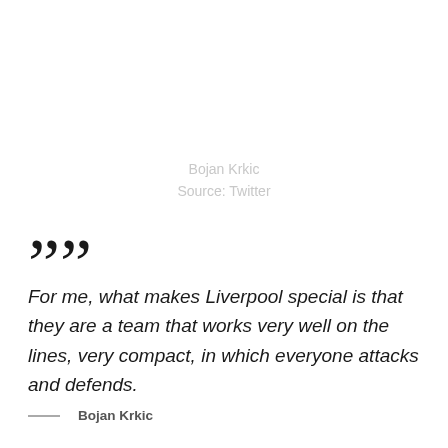Bojan Krkic
Source: Twitter
””
For me, what makes Liverpool special is that they are a team that works very well on the lines, very compact, in which everyone attacks and defends.
— Bojan Krkic